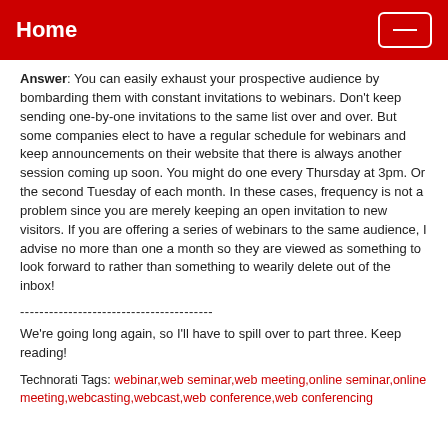Home
Answer: You can easily exhaust your prospective audience by bombarding them with constant invitations to webinars. Don't keep sending one-by-one invitations to the same list over and over. But some companies elect to have a regular schedule for webinars and keep announcements on their website that there is always another session coming up soon. You might do one every Thursday at 3pm. Or the second Tuesday of each month. In these cases, frequency is not a problem since you are merely keeping an open invitation to new visitors. If you are offering a series of webinars to the same audience, I advise no more than one a month so they are viewed as something to look forward to rather than something to wearily delete out of the inbox!
----------------------------------------
We're going long again, so I'll have to spill over to part three. Keep reading!
Technorati Tags: webinar,web seminar,web meeting,online seminar,online meeting,webcasting,webcast,web conference,web conferencing